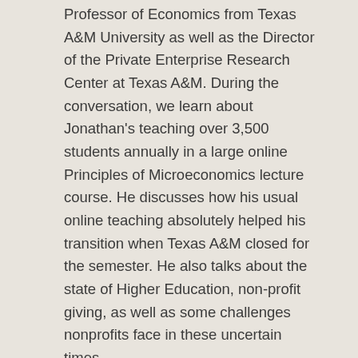Professor of Economics from Texas A&M University as well as the Director of the Private Enterprise Research Center at Texas A&M. During the conversation, we learn about Jonathan's teaching over 3,500 students annually in a large online Principles of Microeconomics lecture course. He discusses how his usual online teaching absolutely helped his transition when Texas A&M closed for the semester. He also talks about the state of Higher Education, non-profit giving, as well as some challenges nonprofits face in these uncertain times.
Some notes from this Podcast if you'd like more information:
1. Link to Jonathan Meer's Youtube video on